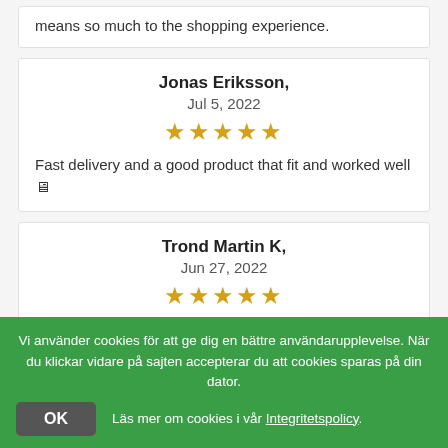means so much to the shopping experience.
Jonas Eriksson, Jul 5, 2022 ★★★★★ Fast delivery and a good product that fit and worked well 🖥
Trond Martin K, Jun 27, 2022 ★★★★★ Fantastic service, helpful and solution-oriented. Fast delivery, clear prices, and ongoing information about shipping. Was unlucky myself and destroyed a lot in connection with installation, contacted them and
Vi använder cookies för att ge dig en bättre användarupplevelse. När du klickar vidare på sajten accepterar du att cookies sparas på din dator. OK Läs mer om cookies i vår Integritetspolicy.